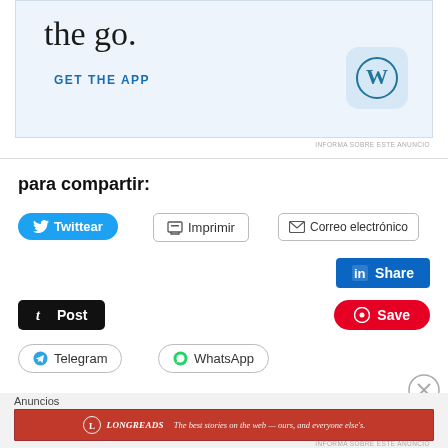[Figure (screenshot): WordPress app advertisement banner with text 'the go.' and 'GET THE APP' with a WordPress logo icon on a light blue background]
INFORMA SOBRE ESTE ANUNCIO
para compartir:
Twittear
Imprimir
Correo electrónico
Share
Post
Save
Telegram
WhatsApp
Anuncios
[Figure (screenshot): Longreads red banner advertisement: 'The best stories on the web — ours, and everyone else's.']
INFORMA SOBRE ESTE ANUNCIO